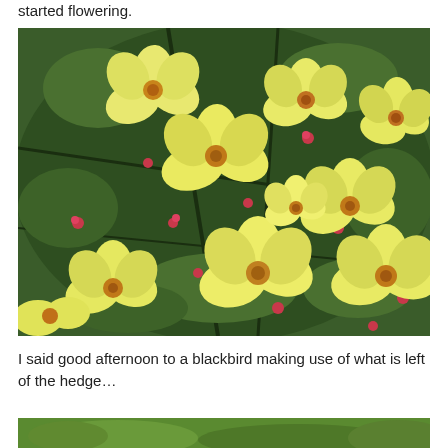started flowering.
[Figure (photo): Close-up photograph of yellow flowers with red-pink buds on a green shrubby plant, viewed from above. The flowers have five rounded petals with orange-yellow centers, and there are many small red/pink buds among the green foliage.]
I said good afternoon to a blackbird making use of what is left of the hedge…
[Figure (photo): Partial view of a second photograph showing green grass or ground cover, only the top sliver visible at the bottom of the page.]